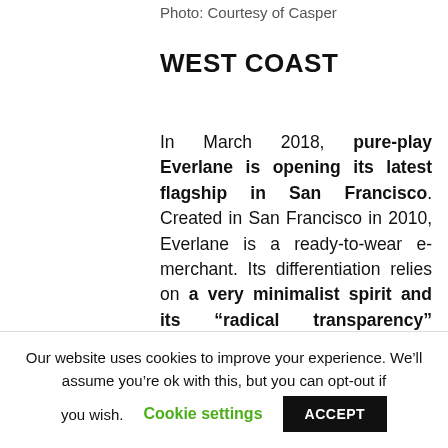Photo: Courtesy of Casper
WEST COAST
In March 2018, pure-play Everlane is opening its latest flagship in San Francisco. Created in San Francisco in 2010, Everlane is a ready-to-wear e-merchant. Its differentiation relies on a very minimalist spirit and its “radical transparency” commitment, establishing partnerships with ethical manufacturing plants
Our website uses cookies to improve your experience. We’ll assume you’re ok with this, but you can opt-out if you wish. Cookie settings ACCEPT